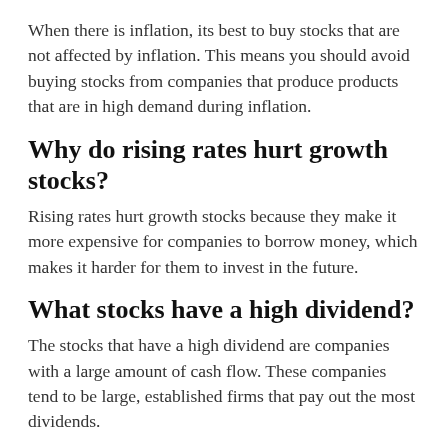When there is inflation, its best to buy stocks that are not affected by inflation. This means you should avoid buying stocks from companies that produce products that are in high demand during inflation.
Why do rising rates hurt growth stocks?
Rising rates hurt growth stocks because they make it more expensive for companies to borrow money, which makes it harder for them to invest in the future.
What stocks have a high dividend?
The stocks that have a high dividend are companies with a large amount of cash flow. These companies tend to be large, established firms that pay out the most dividends.
Why might rising interest rates depress